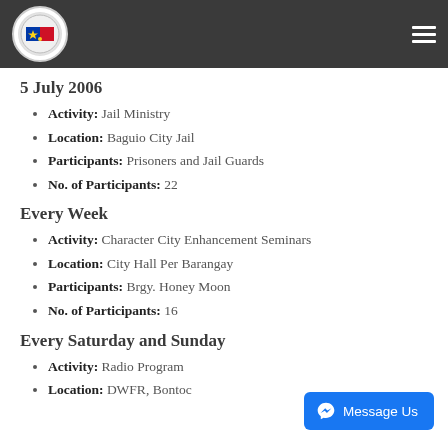Government agency header with logo and menu
5 July 2006
Activity: Jail Ministry
Location: Baguio City Jail
Participants: Prisoners and Jail Guards
No. of Participants: 22
Every Week
Activity: Character City Enhancement Seminars
Location: City Hall Per Barangay
Participants: Brgy. Honey Moon
No. of Participants: 16
Every Saturday and Sunday
Activity: Radio Program
Location: DWFR, Bontoc